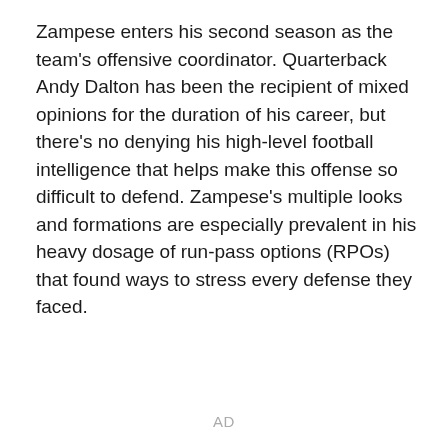Zampese enters his second season as the team's offensive coordinator. Quarterback Andy Dalton has been the recipient of mixed opinions for the duration of his career, but there's no denying his high-level football intelligence that helps make this offense so difficult to defend. Zampese's multiple looks and formations are especially prevalent in his heavy dosage of run-pass options (RPOs) that found ways to stress every defense they faced.
AD